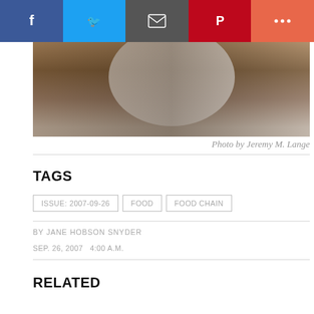[Figure (photo): Social sharing bar with Facebook, Twitter, email, Pinterest, and more buttons]
[Figure (photo): Partial food photo showing a bowl or plate, cropped at top, warm brown tones]
Photo by Jeremy M. Lange
TAGS
ISSUE: 2007-09-26
FOOD
FOOD CHAIN
BY JANE HOBSON SNYDER
SEP. 26, 2007   4:00 A.M.
RELATED